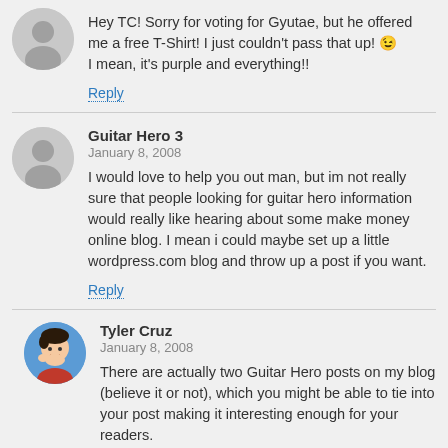Hey TC! Sorry for voting for Gyutae, but he offered me a free T-Shirt! I just couldn't pass that up! 😉 I mean, it's purple and everything!!
Reply
Guitar Hero 3
January 8, 2008
I would love to help you out man, but im not really sure that people looking for guitar hero information would really like hearing about some make money online blog. I mean i could maybe set up a little wordpress.com blog and throw up a post if you want.
Reply
Tyler Cruz
January 8, 2008
There are actually two Guitar Hero posts on my blog (believe it or not), which you might be able to tie into your post making it interesting enough for your readers.